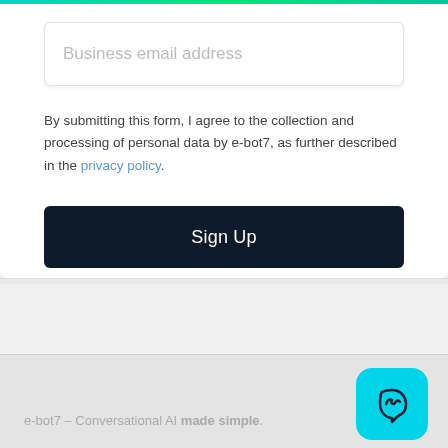Business email address
By submitting this form, I agree to the collection and processing of personal data by e-bot7, as further described in the privacy policy.
Sign Up
e-bot7 – Conversational AI made simple.